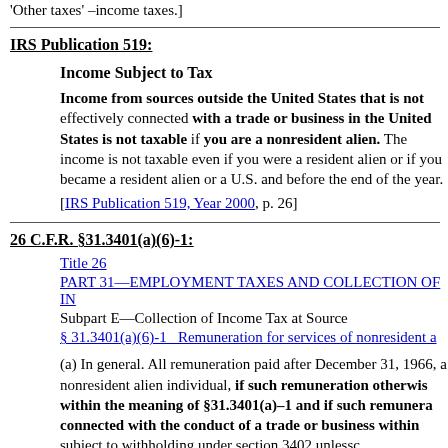'Other taxes' –income taxes.]
IRS Publication 519:
Income Subject to Tax
Income from sources outside the United States that is not effectively connected with a trade or business in the United States is not taxable if you are a nonresident alien. The income is not taxable even if you were a resident alien or if you became a resident alien or a U.S. citizen during and before the end of the year.
[IRS Publication 519, Year 2000, p. 26]
26 C.F.R. §31.3401(a)(6)-1:
Title 26
PART 31—EMPLOYMENT TAXES AND COLLECTION OF IN...
Subpart E—Collection of Income Tax at Source
§ 31.3401(a)(6)-1   Remuneration for services of nonresident a...
(a) In general. All remuneration paid after December 31, 1966, to a nonresident alien individual, if such remuneration otherwise constitutes wages within the meaning of §31.3401(a)–1 and if such remuneration is not effectively connected with the conduct of a trade or business within subject to withholding under section 3402 unless...